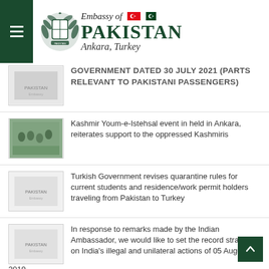[Figure (logo): Embassy of Pakistan, Ankara Turkey logo with national emblem and flags]
GOVERNMENT DATED 30 JULY 2021 (PARTS RELEVANT TO PAKISTANI PASSENGERS)
Kashmir Youm-e-Istehsal event in held in Ankara, reiterates support to the oppressed Kashmiris
Turkish Government revises quarantine rules for current students and residence/work permit holders traveling from Pakistan to Turkey
In response to remarks made by the Indian Ambassador, we would like to set the record straight on India's illegal and unilateral actions of 05 August 2019
Turkish Minister of National Defence calls on the President and Prime Minister of Pakistan